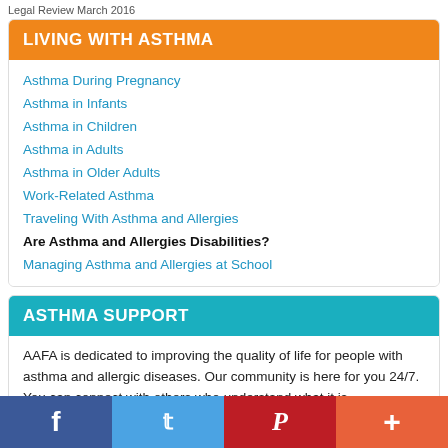Legal Review March 2016
LIVING WITH ASTHMA
Asthma During Pregnancy
Asthma in Infants
Asthma in Children
Asthma in Adults
Asthma in Older Adults
Work-Related Asthma
Traveling With Asthma and Allergies
Are Asthma and Allergies Disabilities?
Managing Asthma and Allergies at School
ASTHMA SUPPORT
AAFA is dedicated to improving the quality of life for people with asthma and allergic diseases. Our community is here for you 24/7.  You can connect with others who understand what it is